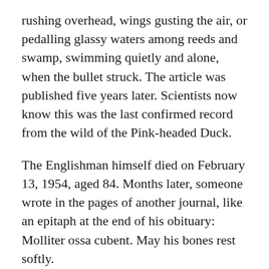rushing overhead, wings gusting the air, or pedalling glassy waters among reeds and swamp, swimming quietly and alone, when the bullet struck. The article was published five years later. Scientists now know this was the last confirmed record from the wild of the Pink-headed Duck.
The Englishman himself died on February 13, 1954, aged 84. Months later, someone wrote in the pages of another journal, like an epitaph at the end of his obituary: Molliter ossa cubent. May his bones rest softly.
People still look for the duck. Their bones and feathers rest softly in museums around the world.